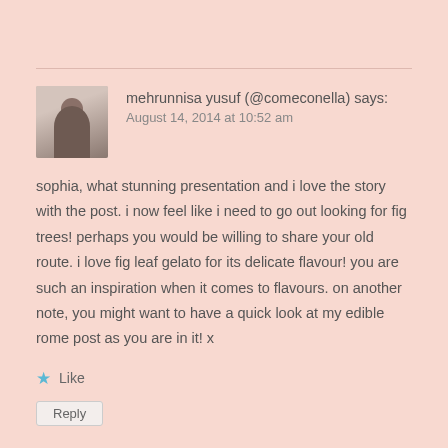mehrunnisa yusuf (@comeconella) says:
August 14, 2014 at 10:52 am
sophia, what stunning presentation and i love the story with the post. i now feel like i need to go out looking for fig trees! perhaps you would be willing to share your old route. i love fig leaf gelato for its delicate flavour! you are such an inspiration when it comes to flavours. on another note, you might want to have a quick look at my edible rome post as you are in it! x
★ Like
Reply